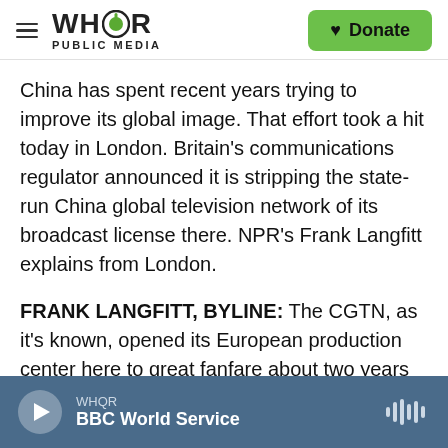WHQR PUBLIC MEDIA — Donate
China has spent recent years trying to improve its global image. That effort took a hit today in London. Britain's communications regulator announced it is stripping the state-run China global television network of its broadcast license there. NPR's Frank Langfitt explains from London.
FRANK LANGFITT, BYLINE: The CGTN, as it's known, opened its European production center here to great fanfare about two years ago. Today, Ofcom, the British regulator, announced it was pulling the network's license. Officials said the
WHQR — BBC World Service